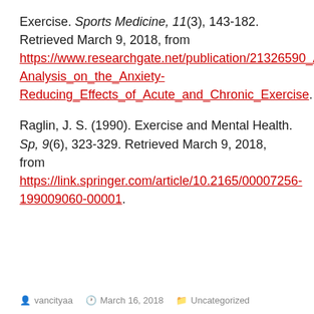Exercise. Sports Medicine, 11(3), 143-182. Retrieved March 9, 2018, from https://www.researchgate.net/publication/21326590_A_Meta-Analysis_on_the_Anxiety-Reducing_Effects_of_Acute_and_Chronic_Exercise.
Raglin, J. S. (1990). Exercise and Mental Health. Sp, 9(6), 323-329. Retrieved March 9, 2018, from https://link.springer.com/article/10.2165/00007256-199009060-00001.
vancityaa   March 16, 2018   Uncategorized